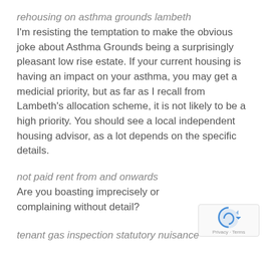rehousing on asthma grounds lambeth
I'm resisting the temptation to make the obvious joke about Asthma Grounds being a surprisingly pleasant low rise estate. If your current housing is having an impact on your asthma, you may get a medicial priority, but as far as I recall from Lambeth's allocation scheme, it is not likely to be a high priority. You should see a local independent housing advisor, as a lot depends on the specific details.
not paid rent from and onwards
Are you boasting imprecisely or complaining without detail?
tenant gas inspection statutory nuisance